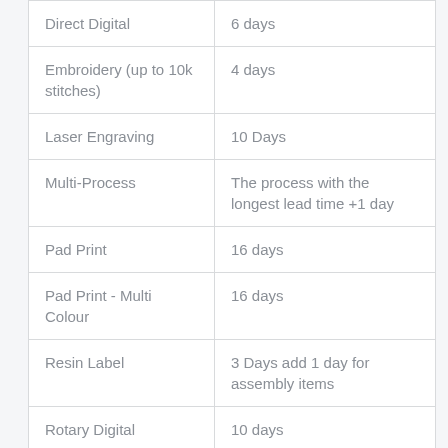| Direct Digital | 6 days |
| Embroidery (up to 10k stitches) | 4 days |
| Laser Engraving | 10 Days |
| Multi-Process | The process with the longest lead time +1 day |
| Pad Print | 16 days |
| Pad Print - Multi Colour | 16 days |
| Resin Label | 3 Days add 1 day for assembly items |
| Rotary Digital | 10 days |
| Screen Print - Bags/Textiles | 12 days |
| Screen Print - Bottles | 9 Days |